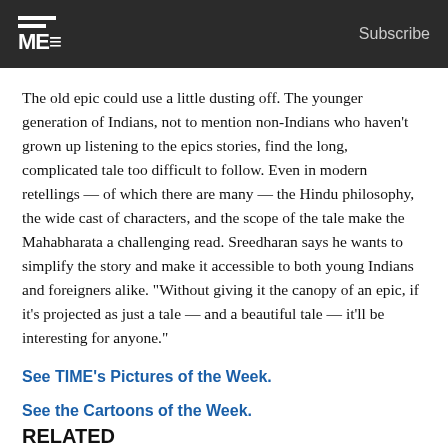TIME Subscribe
The old epic could use a little dusting off. The younger generation of Indians, not to mention non-Indians who haven't grown up listening to the epics stories, find the long, complicated tale too difficult to follow. Even in modern retellings — of which there are many — the Hindu philosophy, the wide cast of characters, and the scope of the tale make the Mahabharata a challenging read. Sreedharan says he wants to simplify the story and make it accessible to both young Indians and foreigners alike. "Without giving it the canopy of an epic, if it's projected as just a tale — and a beautiful tale — it'll be interesting for anyone."
See TIME's Pictures of the Week.
See the Cartoons of the Week.
RELATED